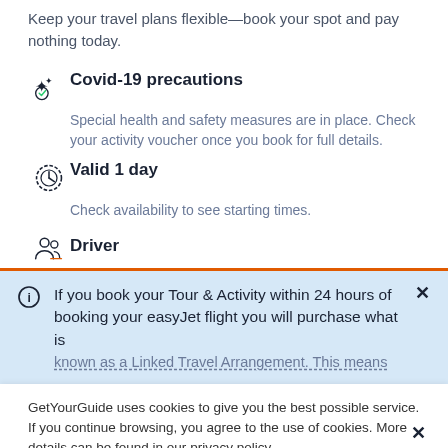Keep your travel plans flexible—book your spot and pay nothing today.
Covid-19 precautions
Special health and safety measures are in place. Check your activity voucher once you book for full details.
Valid 1 day
Check availability to see starting times.
Driver
If you book your Tour & Activity within 24 hours of booking your easyJet flight you will purchase what is known as a Linked Travel Arrangement. This means
GetYourGuide uses cookies to give you the best possible service. If you continue browsing, you agree to the use of cookies. More details can be found in our privacy policy.